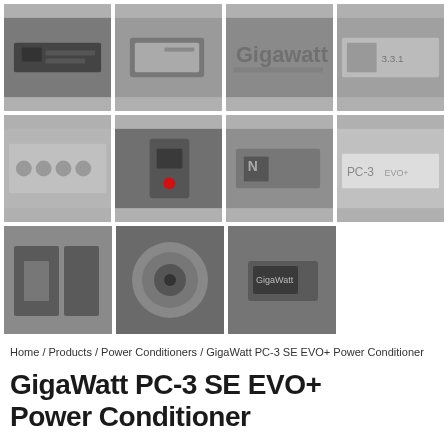[Figure (photo): Gallery of product photos for GigaWatt PC-3 SE EVO+ Power Conditioner arranged in a grid — row 1: 4 photos, row 2: 4 photos, row 3: 3 photos. All photos are grayscale/silver toned showing various angles and details of the power conditioner device.]
Home / Products / Power Conditioners / GigaWatt PC-3 SE EVO+ Power Conditioner
GigaWatt PC-3 SE EVO+ Power Conditioner